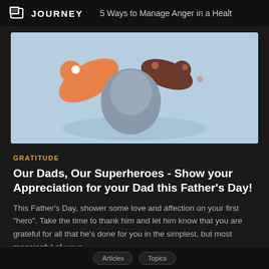JOURNEY   5 Ways to Manage Anger in a Health
[Figure (illustration): Illustrated hero image showing cartoon figures of a parent and child from above, with orange, brown, and light blue tones on a sky-blue background]
GRATITUDE
Our Dads, Our Superheroes - Show your Appreciation for your Dad this Father's Day!
This Father's Day, shower some love and affection on your first "hero". Take the time to thank him and let him know that you are grateful for all that he's done for you in the simplest, but most meaningful of ways.
SHRUTHI NAIR
15 JUN 2022 • 7 MIN READ